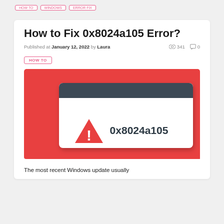HOW TO  |  (tag pills at top)
How to Fix 0x8024a105 Error?
Published at January 12, 2022 by Laura   341  0
HOW TO
[Figure (illustration): Red background with a Windows-style dialog box showing a red warning triangle with exclamation mark and the text '0x8024a105']
The most recent Windows update usually